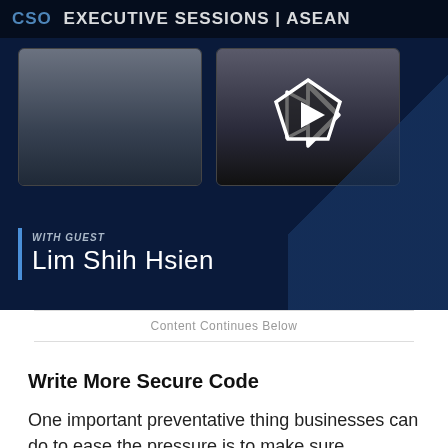[Figure (screenshot): CSO Executive Sessions ASEAN video banner featuring two video thumbnails of speakers, a play button overlay on the right thumbnail, and guest name 'Lim Shih Hsien' shown at the bottom left with a blue vertical bar accent.]
Content Continues Below
Write More Secure Code
One important preventative thing businesses can do to ease the pressure is to make sure